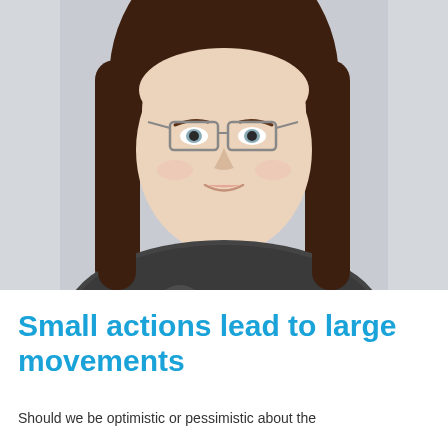[Figure (photo): Portrait photo of a young woman with long brown hair, wearing glasses and a dark patterned top, smiling slightly against a light grey background.]
Small actions lead to large movements
Should we be optimistic or pessimistic about the